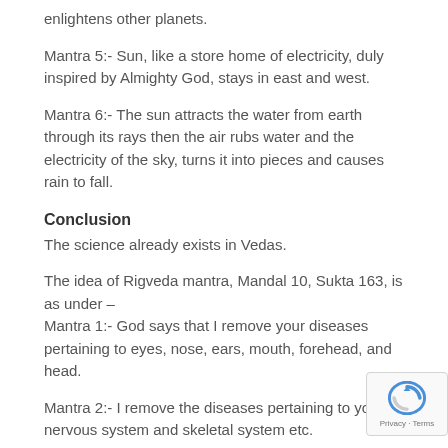enlightens other planets.
Mantra 5:- Sun, like a store home of electricity, duly inspired by Almighty God, stays in east and west.
Mantra 6:- The sun attracts the water from earth through its rays then the air rubs water and the electricity of the sky, turns it into pieces and causes rain to fall.
Conclusion
The science already exists in Vedas.
The idea of Rigveda mantra, Mandal 10, Sukta 163, is as under –
Mantra 1:- God says that I remove your diseases pertaining to eyes, nose, ears, mouth, forehead, and head.
Mantra 2:- I remove the diseases pertaining to your nervous system and skeletal system etc.